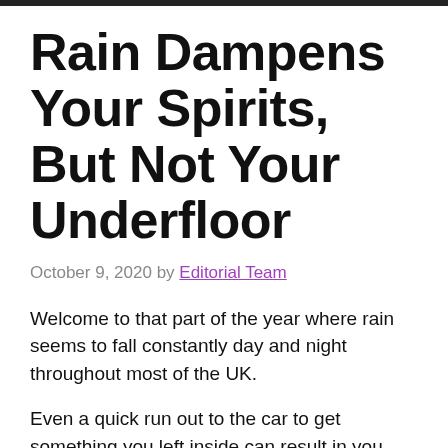Rain Dampens Your Spirits, But Not Your Underfloor
October 9, 2020 by Editorial Team
Welcome to that part of the year where rain seems to fall constantly day and night throughout most of the UK.
Even a quick run out to the car to get something you left inside can result in you